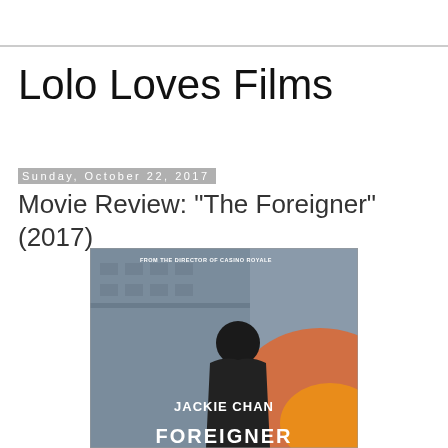Lolo Loves Films
Sunday, October 22, 2017
Movie Review: "The Foreigner" (2017)
[Figure (photo): Movie poster for The Foreigner (2017) featuring Jackie Chan in a dark hoodie standing against a background of a building and orange glow. Text reads: FROM THE DIRECTOR OF CASINO ROYALE, JACKIE CHAN, THE FOREIGNER]